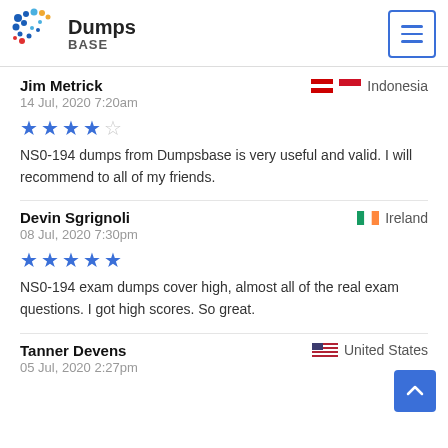Dumps BASE
Jim Metrick — Indonesia — 14 Jul, 2020 7:20am — 4 stars — NS0-194 dumps from Dumpsbase is very useful and valid. I will recommend to all of my friends.
Devin Sgrignoli — Ireland — 08 Jul, 2020 7:30pm — 5 stars — NS0-194 exam dumps cover high, almost all of the real exam questions. I got high scores. So great.
Tanner Devens — United States — 05 Jul, 2020 2:27pm